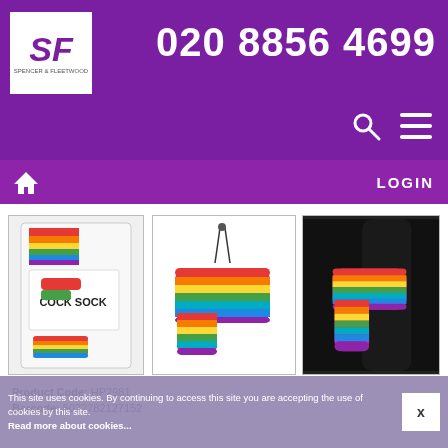020 8856 4699 — Spencer & Fleetwood
[Figure (photo): Product package photo showing rainbow cock sock novelty item with text 'COCK SOCK']
[Figure (photo): Product photo showing rainbow striped cock sock novelty item on white background]
[Figure (photo): Product in use photo showing rainbow striped cock sock on black background]
Product Code: HP2981
Barcode: 5022782127152
Description:
One size fits most rainbow willie-wear.
This site uses cookies. By continuing to access this site you are accepting the use of cookies by this site. Read more about cookies...